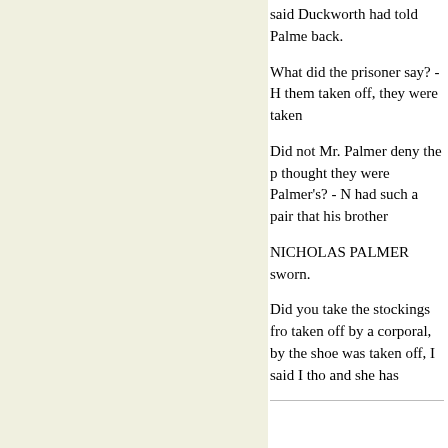said Duckworth had told Palme back.
What did the prisoner say? - H them taken off, they were taken
Did not Mr. Palmer deny the p thought they were Palmer's? - N had such a pair that his brother
NICHOLAS PALMER sworn.
Did you take the stockings fro taken off by a corporal, by the shoe was taken off, I said I tho and she has
had them ever since; I have no
Did the prisoner say any thing had given him a pair like them knew them by the foot being d